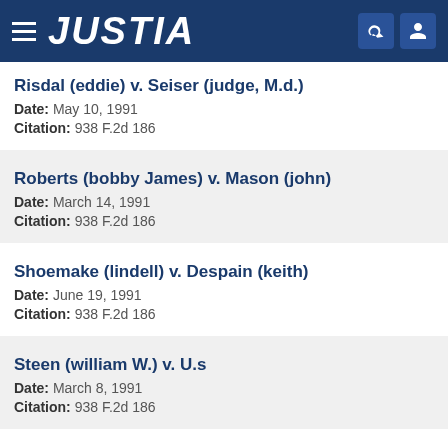JUSTIA
Risdal (eddie) v. Seiser (judge, M.d.) — Date: May 10, 1991 — Citation: 938 F.2d 186
Roberts (bobby James) v. Mason (john) — Date: March 14, 1991 — Citation: 938 F.2d 186
Shoemake (lindell) v. Despain (keith) — Date: June 19, 1991 — Citation: 938 F.2d 186
Steen (william W.) v. U.s — Date: March 8, 1991 — Citation: 938 F.2d 186